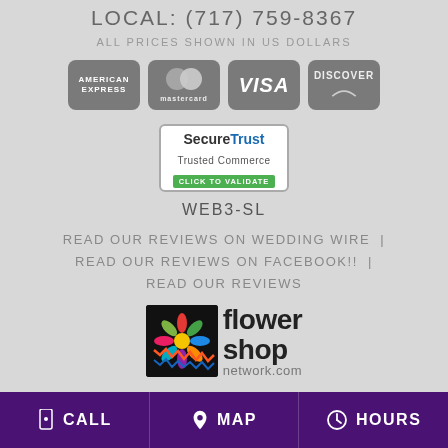LOCAL: (717) 759-8367
ALL PRICES SHOWN IN US DOLLARS
[Figure (logo): Payment method icons: American Express, Mastercard, Visa, Discover]
[Figure (logo): SecureTrust Trusted Commerce - Click to Validate badge]
WEB3-SL
READ OUR REVIEWS ON WEDDING WIRE  |  READ OUR REVIEWS ON FACEBOOK!!  |  READ OUR REVIEWS
[Figure (logo): Flower Shop Network logo]
CALL | MAP | HOURS